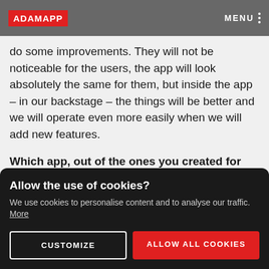ADAMAPP   MENU
do some improvements. They will not be noticeable for the users, the app will look absolutely the same for them, but inside the app – in our backstage – the things will be better and we will operate even more easily when we will add new features.
Which app, out of the ones you created for SAZKA, is most popular?
The lottery one, but I believe this is also because it is
Allow the use of cookies?
We use cookies to personalise content and to analyse our traffic. More
CUSTOMIZE
ALLOW ALL COOKIES